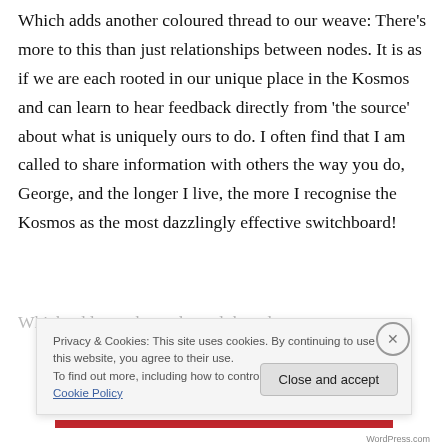Which adds another coloured thread to our weave: There’s more to this than just relationships between nodes. It is as if we are each rooted in our unique place in the Kosmos and can learn to hear feedback directly from ‘the source’ about what is uniquely ours to do. I often find that I am called to share information with others the way you do, George, and the longer I live, the more I recognise the Kosmos as the most dazzlingly effective switchboard!
Which adds another coloured thread...
Privacy & Cookies: This site uses cookies. By continuing to use this website, you agree to their use.
To find out more, including how to control cookies, see here: Cookie Policy
Close and accept